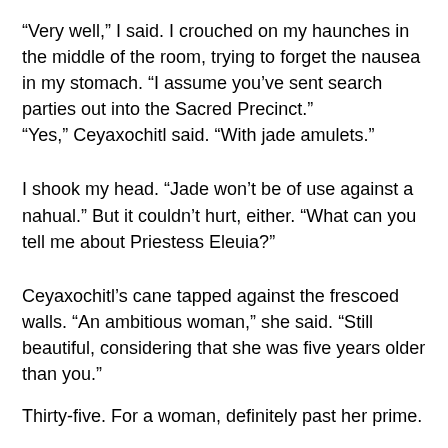“Very well,” I said. I crouched on my haunches in the middle of the room, trying to forget the nausea in my stomach. “I assume you’ve sent search parties out into the Sacred Precinct.”
“Yes,” Ceyaxochitl said. “With jade amulets.”
I shook my head. “Jade won’t be of use against a nahual.” But it couldn’t hurt, either. “What can you tell me about Priestess Eleuia?”
Ceyaxochitl’s cane tapped against the frescoed walls. “An ambitious woman,” she said. “Still beautiful, considering that she was five years older than you.”
Thirty-five. For a woman, definitely past her prime.
“And?”